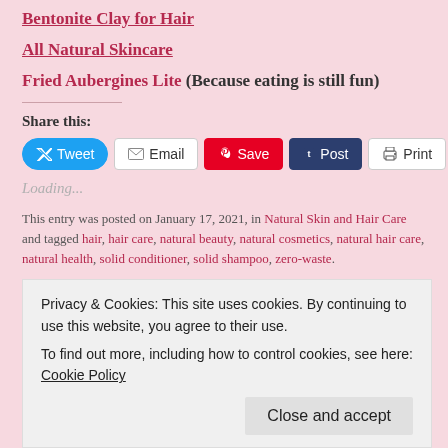Bentonite Clay for Hair
All Natural Skincare
Fried Aubergines Lite (Because eating is still fun)
Share this:
Loading...
This entry was posted on January 17, 2021, in Natural Skin and Hair Care and tagged hair, hair care, natural beauty, natural cosmetics, natural hair care, natural health, solid conditioner, solid shampoo, zero-waste.
Privacy & Cookies: This site uses cookies. By continuing to use this website, you agree to their use. To find out more, including how to control cookies, see here: Cookie Policy